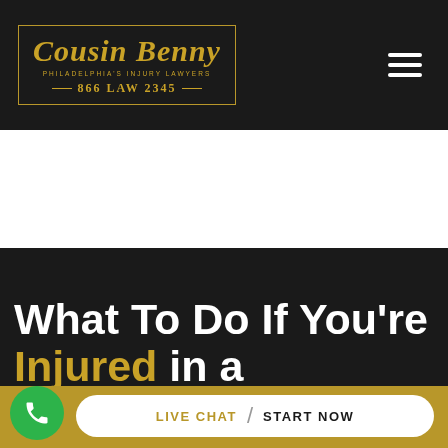[Figure (logo): Cousin Benny law firm logo: decorative serif text 'Cousin Benny', subtitle 'PHILADELPHIA'S INJURY LAWYERS', phone '866 LAW 2345', gold border box on dark background]
What To Do If You're Injured in a Motorcycle
LIVE CHAT / START NOW